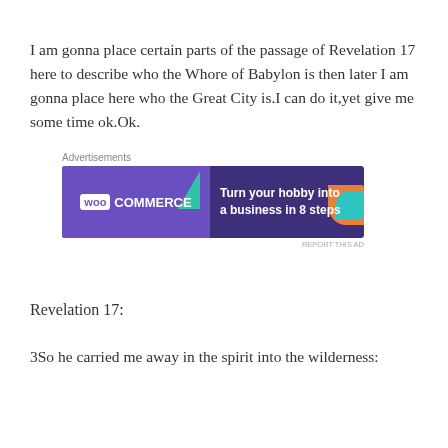I am gonna place certain parts of the passage of Revelation 17 here to describe who the Whore of Babylon is then later I am gonna place here who the Great City is.I can do it,yet give me some time ok.Ok.
[Figure (other): WooCommerce advertisement banner: dark purple background with teal and orange geometric shapes. Left side shows WooCommerce logo. Right side reads 'Turn your hobby into a business in 8 steps']
Revelation 17:
3So he carried me away in the spirit into the wilderness: